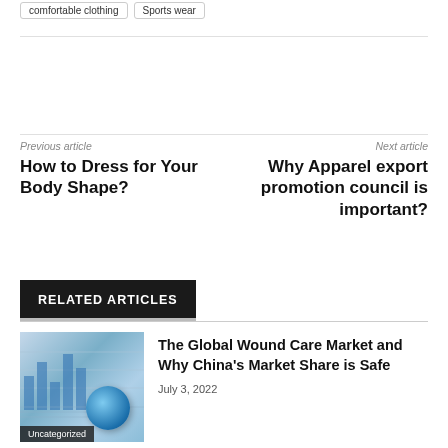comfortable clothing   Sports wear
Previous article
How to Dress for Your Body Shape?
Next article
Why Apparel export promotion council is important?
RELATED ARTICLES
[Figure (photo): Globe on financial charts/reports background with bar chart visible]
The Global Wound Care Market and Why China's Market Share is Safe
July 3, 2022
Uncategorized